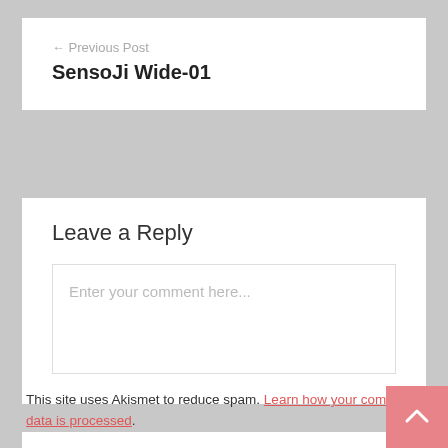← Previous Post
SensoJi Wide-01
Leave a Reply
Enter your comment here...
This site uses Akismet to reduce spam. Learn how your comment data is processed.
Welcome